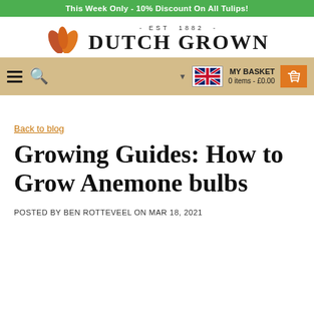This Week Only - 10% Discount On All Tulips!
[Figure (logo): Dutch Grown website header with orange leaf logo and brand name 'DUTCH GROWN' with EST 1882]
[Figure (screenshot): Navigation bar with hamburger menu, search icon, UK flag language selector, and MY BASKET (0 items - £0.00) with orange basket icon]
Back to blog
Growing Guides: How to Grow Anemone bulbs
POSTED BY BEN ROTTEVEEL ON MAR 18, 2021